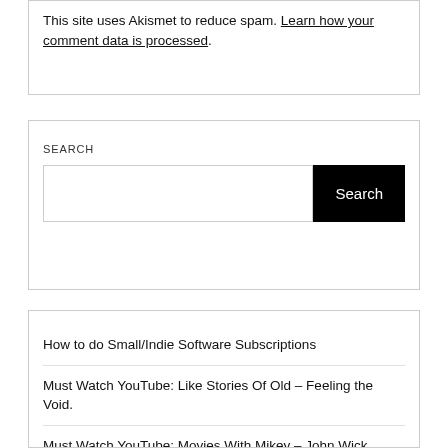This site uses Akismet to reduce spam. Learn how your comment data is processed.
SEARCH
Search
How to do Small/Indie Software Subscriptions
Must Watch YouTube: Like Stories Of Old – Feeling the Void.
Must Watch YouTube: Movies With Mikey – John Wick.